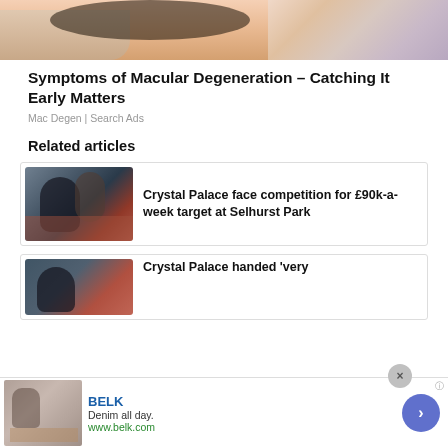[Figure (photo): Partial photo of a person, cropped at top of page]
Symptoms of Macular Degeneration – Catching It Early Matters
Mac Degen | Search Ads
Related articles
[Figure (photo): Man in dark jacket clapping, sports event background]
Crystal Palace face competition for £90k-a-week target at Selhurst Park
[Figure (photo): Man at sporting event, partially visible]
Crystal Palace handed 'very
[Figure (infographic): Advertisement banner for BELK: Denim all day. www.belk.com]